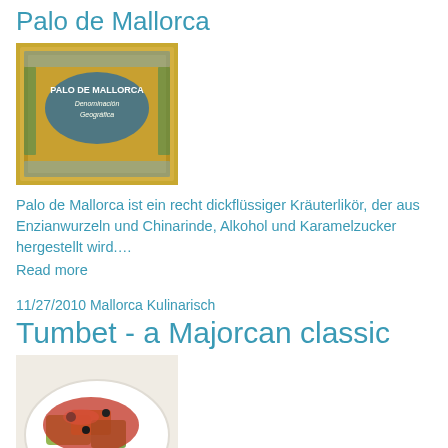Palo de Mallorca
[Figure (photo): Logo/label image for Palo de Mallorca product with yellow and green decorative border]
Palo de Mallorca ist ein recht dickflüssiger Kräuterlikör, der aus Enzianwurzeln und Chinarinde, Alkohol und Karamelzucker hergestellt wird….
Read more
11/27/2010 Mallorca Kulinarisch
Tumbet - a Majorcan classic
[Figure (photo): Photo of Tumbet dish - a Majorcan vegetable dish with tomato sauce on a white plate]
Cold, warm or lukewarm, as starter, main or side dish (perfect for BBQ accompaniment), Tumbet is a truly versatile dish, Tumbet is a …
Read more
11/29/2010 Mallorca Kulinarisch